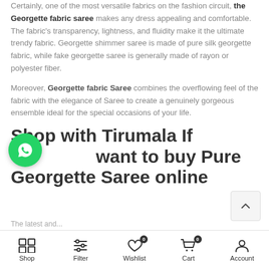Certainly, one of the most versatile fabrics on the fashion circuit, the Georgette fabric saree makes any dress appealing and comfortable. The fabric's transparency, lightness, and fluidity make it the ultimate trendy fabric. Georgette shimmer saree is made of pure silk georgette fabric, while fake georgette saree is generally made of rayon or polyester fiber.
Moreover, Georgette fabric Saree combines the overflowing feel of the fabric with the elegance of Saree to create a genuinely gorgeous ensemble ideal for the special occasions of your life.
Shop with Tirumala If you want to buy Pure Georgette Saree online
The latest and...
Shop | Filter | Wishlist 0 | Cart 0 | Account